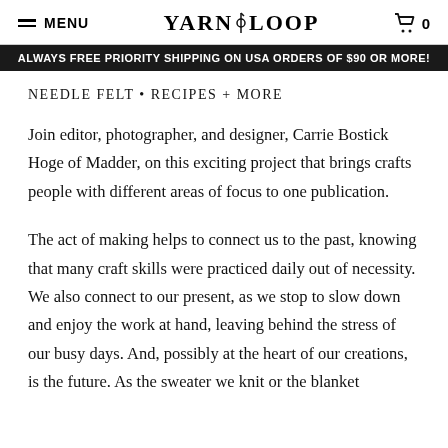MENU  YARN LOOP  0
ALWAYS FREE PRIORITY SHIPPING ON USA ORDERS OF $90 OR MORE!
NEEDLE FELT • RECIPES + MORE
Join editor, photographer, and designer, Carrie Bostick Hoge of Madder, on this exciting project that brings crafts people with different areas of focus to one publication.
The act of making helps to connect us to the past, knowing that many craft skills were practiced daily out of necessity. We also connect to our present, as we stop to slow down and enjoy the work at hand, leaving behind the stress of our busy days. And, possibly at the heart of our creations, is the future. As the sweater we knit or the blanket